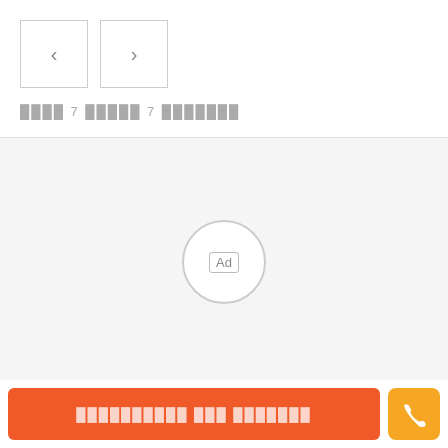[Figure (screenshot): Navigation buttons: left arrow button and right arrow button, both in square bordered boxes]
████ 7 █████ 7 ███████
[Figure (infographic): Gray background ad placeholder area with a circle containing 'Ad' label in center]
██████████ ███ ███████
[Figure (illustration): Orange phone call button icon]